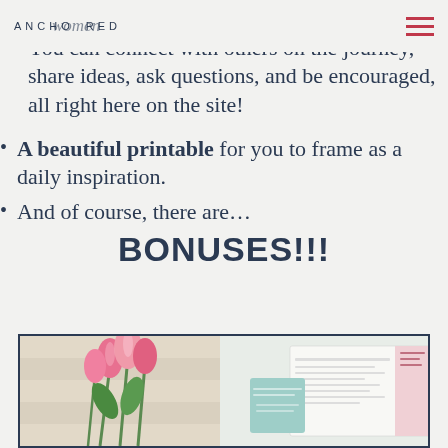ANCHORED women
A like-minded community. You can connect with others on the journey, share ideas, ask questions, and be encouraged, all right here on the site!
A beautiful printable for you to frame as a daily inspiration.
And of course, there are…
BONUSES!!!
[Figure (photo): Image box with tulips on the left and planner/printable documents on the right, inside a navy bordered rectangle]